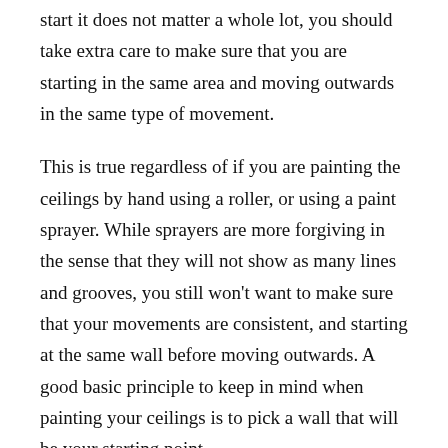start it does not matter a whole lot, you should take extra care to make sure that you are starting in the same area and moving outwards in the same type of movement.
This is true regardless of if you are painting the ceilings by hand using a roller, or using a paint sprayer. While sprayers are more forgiving in the sense that they will not show as many lines and grooves, you still won't want to make sure that your movements are consistent, and starting at the same wall before moving outwards. A good basic principle to keep in mind when painting your ceilings is to pick a wall that will be your starting point.
Always start from here and with consistent movements, move outwards to the other side of the room. Trying to work in “stips” throughout the painting process can make painting the ceiling and